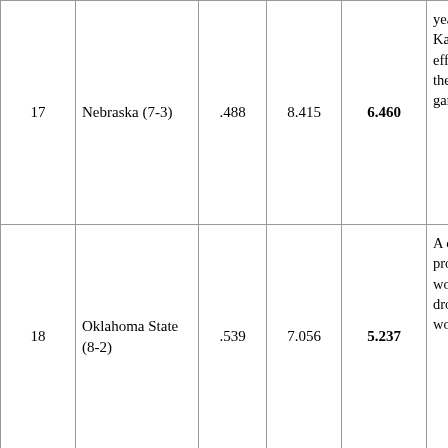| Rank | Team | Col3 | Col4 | Col5 | Notes |
| --- | --- | --- | --- | --- | --- |
| 17 | Nebraska (7-3) | .488 | 8.415 | 6.460 | year, very Kans game effec title g the ri to be game |
| 18 | Oklahoma State (8-2) | .539 | 7.056 | 5.237 | A one over is pro expe can't wonc Cowb drop for le worse team |